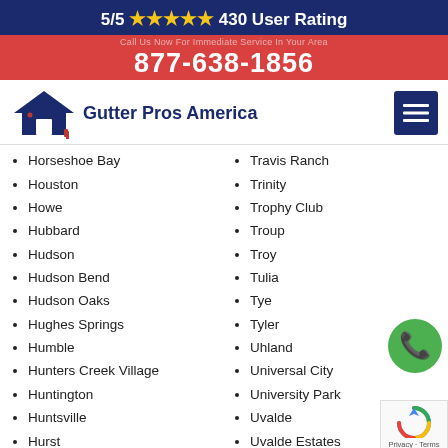5/5 ★★★★★ 430 User Rating
877-638-1856
[Figure (logo): Gutter Pros America logo with house roof icon]
Horseshoe Bay
Houston
Howe
Hubbard
Hudson
Hudson Bend
Hudson Oaks
Hughes Springs
Humble
Hunters Creek Village
Huntington
Huntsville
Hurst
Travis Ranch
Trinity
Trophy Club
Troup
Troy
Tulia
Tye
Tyler
Uhland
Universal City
University Park
Uvalde
Uvalde Estates